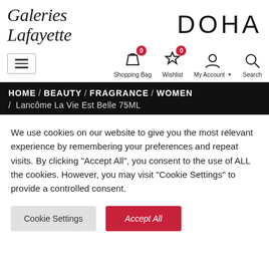[Figure (logo): Galeries Lafayette cursive script logo on left, DOHA large text on right]
[Figure (infographic): Navigation bar with hamburger menu, Shopping Bag (badge 0), Wishlist star (badge 0), My Account, and Search icons]
HOME / BEAUTY / FRAGRANCE / WOMEN / Lancôme La Vie Est Belle 75ML
We use cookies on our website to give you the most relevant experience by remembering your preferences and repeat visits. By clicking “Accept All”, you consent to the use of ALL the cookies. However, you may visit "Cookie Settings" to provide a controlled consent.
Cookie Settings | Accept All